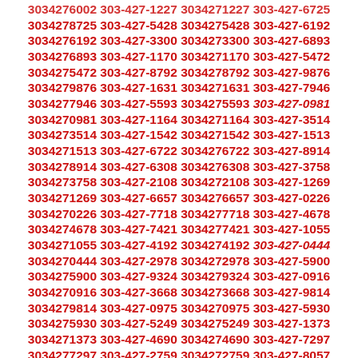3034276002 303-427-1227 3034271227 303-427-6725
3034278725 303-427-5428 3034275428 303-427-6192
3034276192 303-427-3300 3034273300 303-427-6893
3034276893 303-427-1170 3034271170 303-427-5472
3034275472 303-427-8792 3034278792 303-427-9876
3034279876 303-427-1631 3034271631 303-427-7946
3034277946 303-427-5593 3034275593 303-427-0981
3034270981 303-427-1164 3034271164 303-427-3514
3034273514 303-427-1542 3034271542 303-427-1513
3034271513 303-427-6722 3034276722 303-427-8914
3034278914 303-427-6308 3034276308 303-427-3758
3034273758 303-427-2108 3034272108 303-427-1269
3034271269 303-427-6657 3034276657 303-427-0226
3034270226 303-427-7718 3034277718 303-427-4678
3034274678 303-427-7421 3034277421 303-427-1055
3034271055 303-427-4192 3034274192 303-427-0444
3034270444 303-427-2978 3034272978 303-427-5900
3034275900 303-427-9324 3034279324 303-427-0916
3034270916 303-427-3668 3034273668 303-427-9814
3034279814 303-427-0975 3034270975 303-427-5930
3034275930 303-427-5249 3034275249 303-427-1373
3034271373 303-427-4690 3034274690 303-427-7297
3034277297 303-427-2759 3034272759 303-427-8057
3034278057 303-427-4259 3034274259 303-427-3724
3034273724 303-427-5257 3034275257 303-427-7573
3034277573 303-427-2708 3034272708 303-427-1210